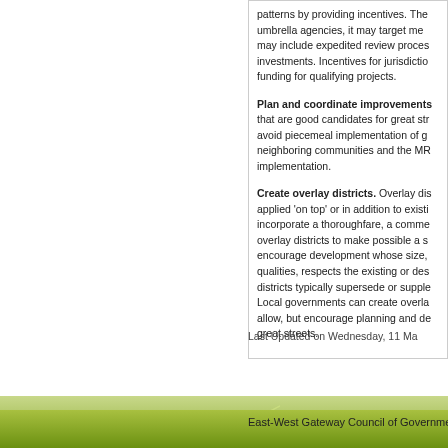patterns by providing incentives. The umbrella agencies, it may target me may include expedited review process investments. Incentives for jurisdictio funding for qualifying projects.
Plan and coordinate improvements that are good candidates for great str avoid piecemeal implementation of g neighboring communities and the MR implementation.
Create overlay districts. Overlay dis applied 'on top' or in addition to existing incorporate a thoroughfare, a comme overlay districts to make possible a s encourage development whose size, qualities, respects the existing or des districts typically supersede or supple Local governments can create overla allow, but encourage planning and de great streets.
Last Updated on Wednesday, 11 Ma
East-West Gateway Council of Governments |